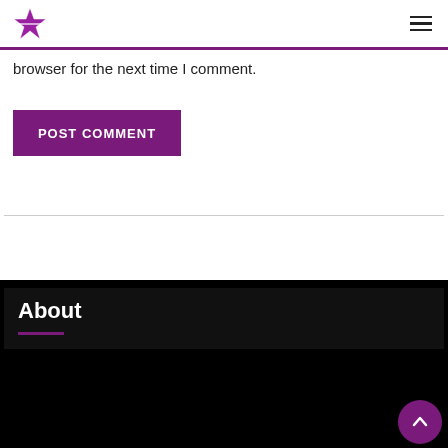The Celebrity Birthday - logo and navigation
browser for the next time I comment.
POST COMMENT
About
The Celebrity birthday is an Entertainment website that